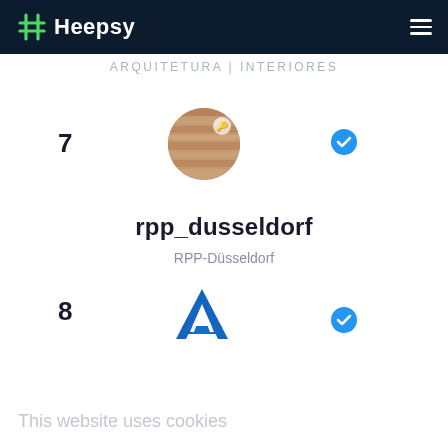Heepsy
ARQUITETURA | INTERIORES
7
[Figure (photo): Circular profile photo showing wooden/architectural texture in brown tones with a small lock/key icon]
[Figure (other): Blue verified checkmark badge icon]
rpp_dusseldorf
RPP-Düsseldorf
8
[Figure (logo): Blue stylized letter A logo (AutoScout or similar brand)]
[Figure (other): Blue verified checkmark badge icon]
This website uses cookies